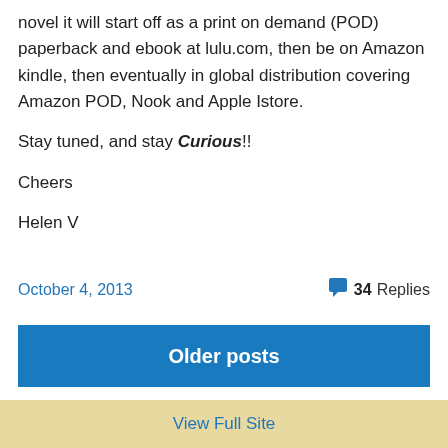novel it will start off as a print on demand (POD) paperback and ebook at lulu.com, then be on Amazon kindle, then eventually in global distribution covering Amazon POD, Nook and Apple Istore.
Stay tuned, and stay Curious!!
Cheers
Helen V
October 4, 2013
34 Replies
Older posts
View Full Site